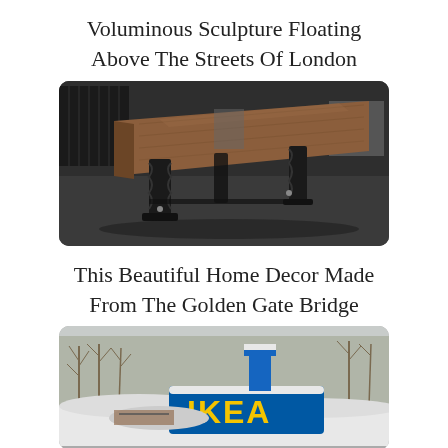Voluminous Sculpture Floating Above The Streets Of London
[Figure (photo): A large wooden slab table top with dark sculptural metal legs, displayed in what appears to be an industrial workshop or garage setting.]
This Beautiful Home Decor Made From The Golden Gate Bridge
[Figure (photo): An outdoor winter scene with snow-covered items and a large blue sign reading IKEA, surrounded by bare trees.]